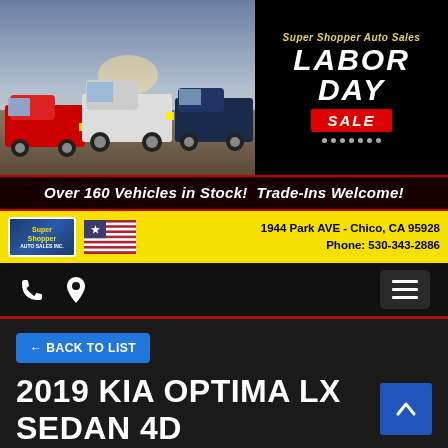[Figure (photo): Three pickup trucks (red, white, dark blue) driving on dirt road, Super Shopper Auto Sales Labor Day Sale banner on right]
Over 160 Vehicles in Stock!  Trade-Ins Welcome!
[Figure (logo): Super Shopper Auto Sales logo with American flag and address: 1944 Park AVE - Chico, CA 95928, Phone: 530-343-2886]
← BACK TO LIST
2019 KIA OPTIMA LX SEDAN 4D
Call for Price
[Figure (photo): Partial vehicle photo showing wheel/tire area]